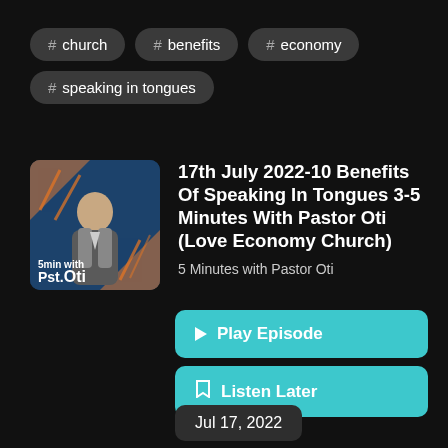# church
# benefits
# economy
# speaking in tongues
[Figure (illustration): Podcast thumbnail showing man in suit on blue/orange background with text '5min with Pst.Oti']
17th July 2022-10 Benefits Of Speaking In Tongues 3-5 Minutes With Pastor Oti (Love Economy Church)
5 Minutes with Pastor Oti
▶ Play Episode
🔖 Listen Later
Jul 17, 2022